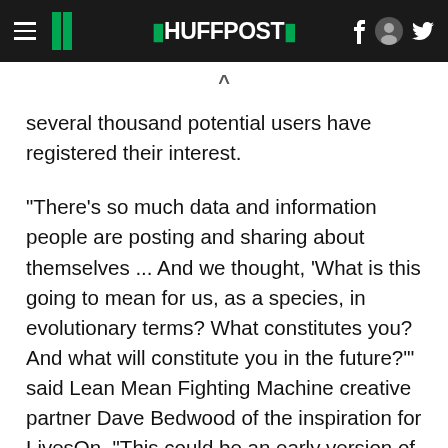HUFFPOST
several thousand potential users have registered their interest.
"There's so much data and information people are posting and sharing about themselves ... And we thought, 'What is this going to mean for us, as a species, in evolutionary terms? What constitutes you? And what will constitute you in the future?'" said Lean Mean Fighting Machine creative partner Dave Bedwood of the inspiration for LivesOn. "This could be an early version of the Matrix."